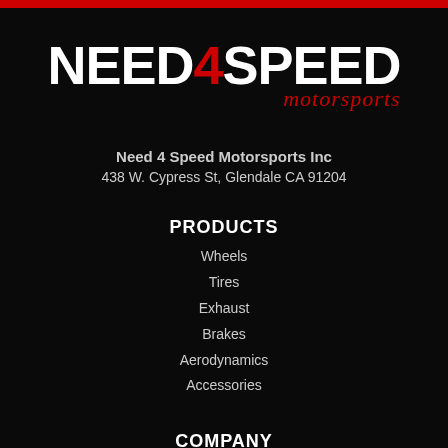[Figure (logo): Need 4 Speed Motorsports logo — large white bold uppercase text 'NEED4SPEED' with '4' in red, and red italic cursive 'motorsports' below-right]
Need 4 Speed Motorsports Inc
438 W. Cypress St, Glendale CA 91204
PRODUCTS
Wheels
Tires
Exhaust
Brakes
Aerodynamics
Accessories
COMPANY
About Us
Gallery
Press
Blog